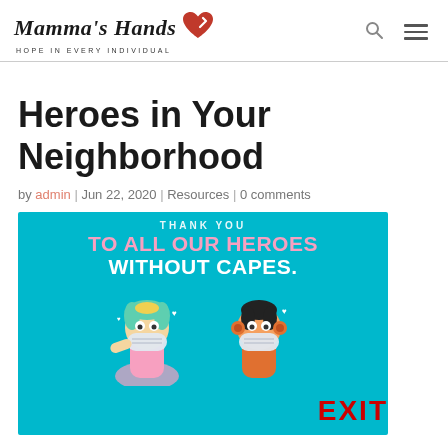Mamma's Hands — HOPE IN EVERY INDIVIDUAL
Heroes in Your Neighborhood
by admin | Jun 22, 2020 | Resources | 0 comments
[Figure (illustration): Colorful illustrated banner on teal background reading THANK YOU TO ALL OUR HEROES WITHOUT CAPES with two cartoon characters wearing masks in superhero costumes, with an EXIT label overlay at bottom right]